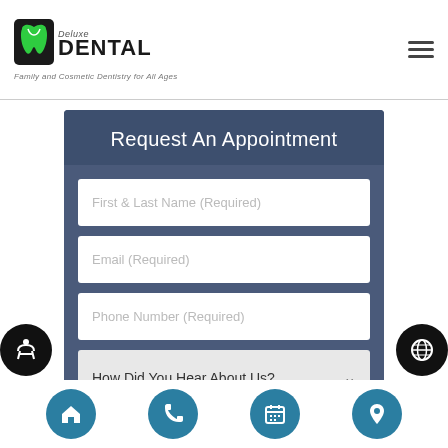[Figure (logo): Deluxe Dental logo with green tooth icon, bold DENTAL text, and tagline 'Family and Cosmetic Dentistry for All Ages']
Request An Appointment
First & Last Name (Required)
Email (Required)
Phone Number (Required)
How Did You Hear About Us?
[Figure (infographic): Bottom navigation bar with four circular teal buttons: home, phone, calendar, location icons]